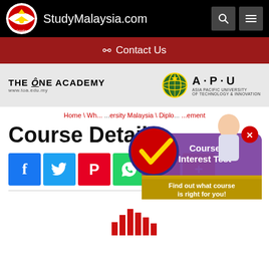StudyMalaysia.com
✉ Contact Us
[Figure (logo): The ONE Academy logo with www.toa.edu.my]
[Figure (logo): Asia Pacific University of Technology & Innovation (APU) logo with globe icon]
[Figure (illustration): Course Interest Test popup with Malaysian flag checkmark, girl thinking, and text: Course Interest Test - Find out what course is right for you!]
Home \ Wh... ...ersity Malaysia \ Diplo... ...ement
Course Details
[Figure (infographic): Social share buttons: Facebook, Twitter, Pinterest, WhatsApp, Mix, Plus]
[Figure (bar-chart): Partial red bar chart graphic at bottom of page]